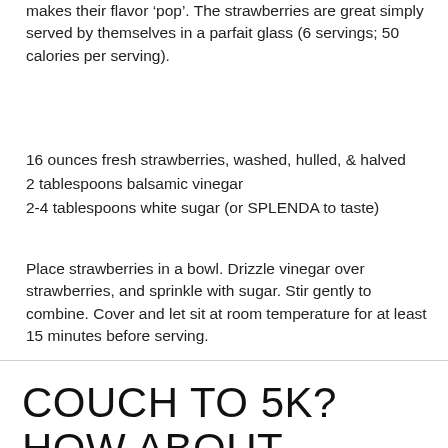makes their flavor ‘pop’. The strawberries are great simply served by themselves in a parfait glass (6 servings; 50 calories per serving).
16 ounces fresh strawberries, washed, hulled, & halved
2 tablespoons balsamic vinegar
2-4 tablespoons white sugar (or SPLENDA to taste)
Place strawberries in a bowl. Drizzle vinegar over strawberries, and sprinkle with sugar. Stir gently to combine. Cover and let sit at room temperature for at least 15 minutes before serving.
COUCH TO 5K? HOW ABOUT COUCH TO STATE